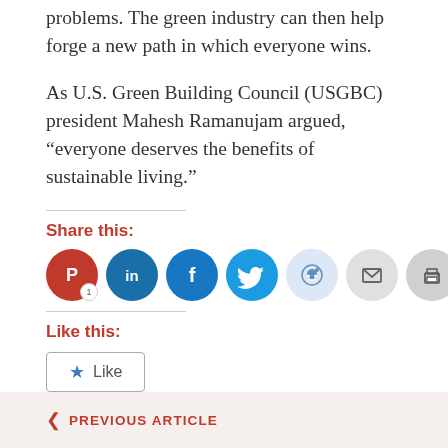problems. The green industry can then help forge a new path in which everyone wins.
As U.S. Green Building Council (USGBC) president Mahesh Ramanujam argued, “everyone deserves the benefits of sustainable living.”
Share this:
[Figure (infographic): Row of circular social sharing icons: Pinterest (red, with badge '1'), LinkedIn (dark blue), Facebook (blue), Twitter (light blue), Reddit (pale blue), Email (light gray), Print (gray)]
Like this:
[Figure (infographic): Like button widget with a star icon and 'Like' text, followed by 'Be the first to like this.']
Policy and Regulation
PREVIOUS ARTICLE